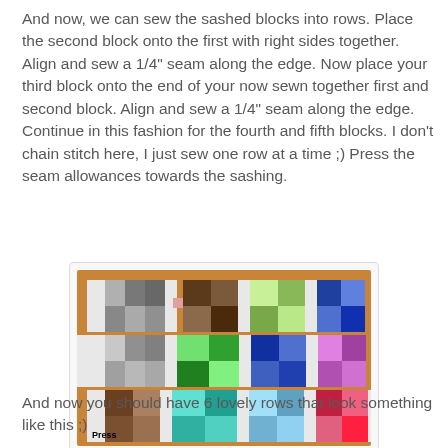And now, we can sew the sashed blocks into rows.  Place the second block onto the first with right sides together.  Align and sew a 1/4" seam along the edge.   Now place your third block onto the end of your now sewn together first and second block.  Align and sew a 1/4" seam along the edge.  Continue in this fashion for the fourth and fifth blocks.   I don't chain stitch here, I just sew one row at a time ;)  Press the seam allowances towards the sashing.
[Figure (photo): Photo of colorful quilting blocks arranged in rows on a wooden surface, showing sashed blocks sewn together. The word 'Press' appears in the lower left corner of the photo.]
And now you should have 6 lovely rows that look something like this ;)